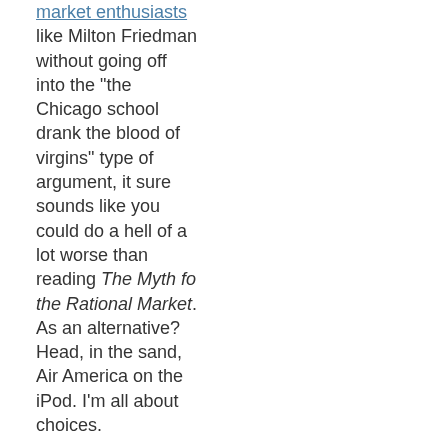market enthusiasts like Milton Friedman without going off into the "the Chicago school drank the blood of virgins" type of argument, it sure sounds like you could do a hell of a lot worse than reading The Myth fo the Rational Market. As an alternative? Head, in the sand, Air America on the iPod. I'm all about choices.
-There's a realllllly complimentary review of Brian Nelson's The Silence and the